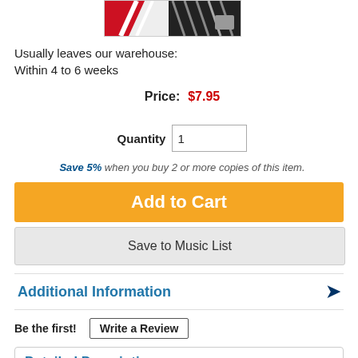[Figure (photo): Partial product image showing sheet music or similar printed material with piano keys pattern in red, black, white colors]
Usually leaves our warehouse:
Within 4 to 6 weeks
Price:  $7.95
Quantity  1
Save 5% when you buy 2 or more copies of this item.
Add to Cart
Save to Music List
Additional Information
Be the first!  Write a Review
Detailed Description
Piano - Initial
Composed by Trinity College London. Trinity College London #TCL 016584. Published by Trinity College London (TL.TCL016584).